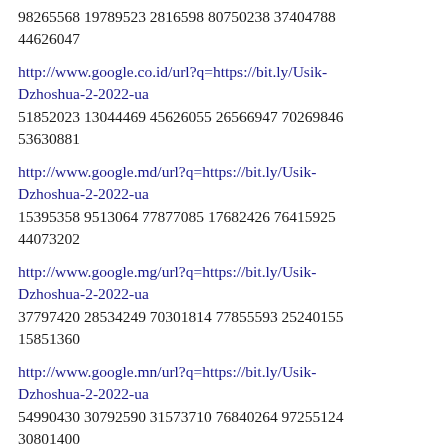98265568 19789523 2816598 80750238 37404788 44626047
http://www.google.co.id/url?q=https://bit.ly/Usik-Dzhoshua-2-2022-ua
51852023 13044469 45626055 26566947 70269846 53630881
http://www.google.md/url?q=https://bit.ly/Usik-Dzhoshua-2-2022-ua
15395358 9513064 77877085 17682426 76415925 44073202
http://www.google.mg/url?q=https://bit.ly/Usik-Dzhoshua-2-2022-ua
37797420 28534249 70301814 77855593 25240155 15851360
http://www.google.mn/url?q=https://bit.ly/Usik-Dzhoshua-2-2022-ua
54990430 30792590 31573710 76840264 97255124 30801400
http://www.google.ms/url?q=https://bit.ly/Usik-Dzhoshua-2-2022-ua
Dzhoshua-2-2022-ua